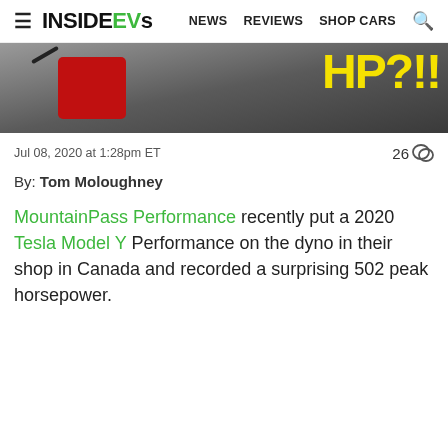InsideEVs — NEWS  REVIEWS  SHOP CARS
[Figure (photo): Hero image of a dyno testing device with a red component visible, overlaid with large yellow bold text 'HP?!!']
Jul 08, 2020 at 1:28pm ET   26 comments
By: Tom Moloughney
MountainPass Performance recently put a 2020 Tesla Model Y Performance on the dyno in their shop in Canada and recorded a surprising 502 peak horsepower.